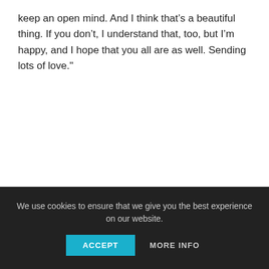keep an open mind. And I think that’s a beautiful thing. If you don’t, I understand that, too, but I’m happy, and I hope that you all are as well. Sending lots of love."
We use cookies to ensure that we give you the best experience on our website.
ACCEPT
MORE INFO